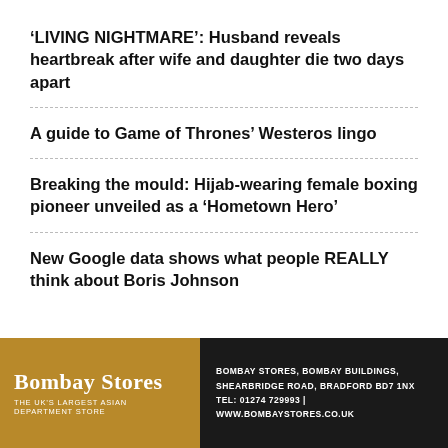‘LIVING NIGHTMARE’: Husband reveals heartbreak after wife and daughter die two days apart
A guide to Game of Thrones’ Westeros lingo
Breaking the mould: Hijab-wearing female boxing pioneer unveiled as a ‘Hometown Hero’
New Google data shows what people REALLY think about Boris Johnson
[Figure (other): Bombay Stores advertisement banner: logo on gold background with text 'BOMBAY STORES - THE UK'S LARGEST ASIAN DEPARTMENT STORE' and contact info: BOMBAY STORES, BOMBAY BUILDINGS, SHEARBRIDGE ROAD, BRADFORD BD7 1NX, TEL: 01274 729993 | WWW.BOMBAYSTORES.CO.UK]